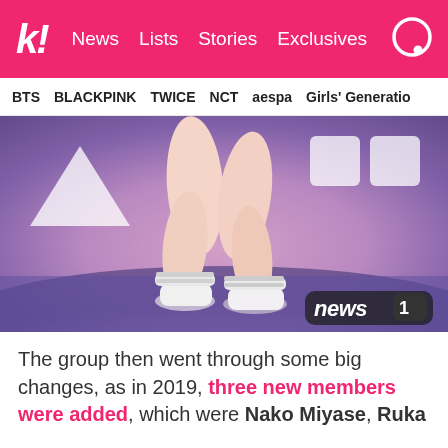k! News   Lists   Stories   Exclusives
BTS   BLACKPINK   TWICE   NCT   aespa   Girls' Generation
[Figure (photo): Close-up photo of a person's legs wearing white Mary Jane platform shoes with double ankle straps, standing on a dark stage floor. Pink and purple lit background with a white triangle shape visible. news1 watermark logo in bottom right corner.]
The group then went through some big changes, as in 2019, three new members were added, which were Nako Miyase, Ruka Fuj... and Sora-kun... (text cut off)